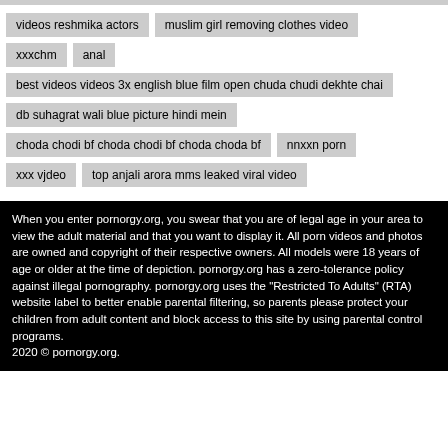videos reshmika actors
muslim girl removing clothes video
xxxchm
anal
best videos videos 3x english blue film open chuda chudi dekhte chai
db suhagrat wali blue picture hindi mein
choda chodi bf choda chodi bf choda choda bf
nnxxn porn
xxx vjdeo
top anjali arora mms leaked viral video
When you enter pornorgy.org, you swear that you are of legal age in your area to view the adult material and that you want to display it. All porn videos and photos are owned and copyright of their respective owners. All models were 18 years of age or older at the time of depiction. pornorgy.org has a zero-tolerance policy against illegal pornography. pornorgy.org uses the "Restricted To Adults" (RTA) website label to better enable parental filtering, so parents please protect your children from adult content and block access to this site by using parental control programs.
2020 © pornorgy.org.